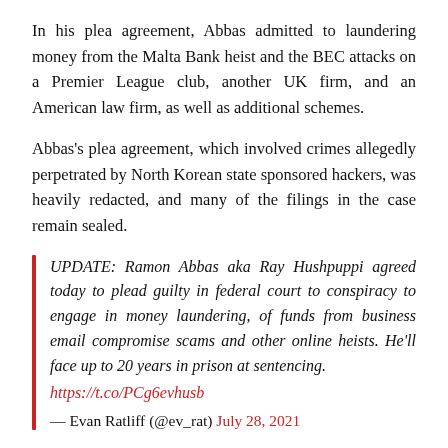In his plea agreement, Abbas admitted to laundering money from the Malta Bank heist and the BEC attacks on a Premier League club, another UK firm, and an American law firm, as well as additional schemes.
Abbas's plea agreement, which involved crimes allegedly perpetrated by North Korean state sponsored hackers, was heavily redacted, and many of the filings in the case remain sealed.
UPDATE: Ramon Abbas aka Ray Hushpuppi agreed today to plead guilty in federal court to conspiracy to engage in money laundering, of funds from business email compromise scams and other online heists. He'll face up to 20 years in prison at sentencing. https://t.co/PCg6evhusb
— Evan Ratliff (@ev_rat) July 28, 2021